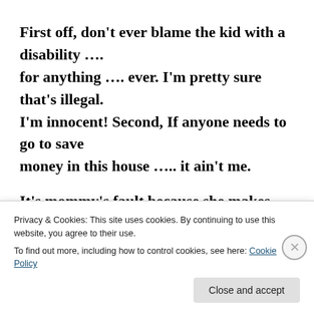First off, don't ever blame the kid with a disability …. for anything …. ever. I'm pretty sure that's illegal. I'm innocent! Second, If anyone needs to go to save money in this house ….. it ain't me.
It's mommy's fault because she makes my food at the right temperature and doesn't give me ketchup. All those chemicals are bad for me. But… Was she off
Privacy & Cookies: This site uses cookies. By continuing to use this website, you agree to their use.
To find out more, including how to control cookies, see here: Cookie Policy
Close and accept